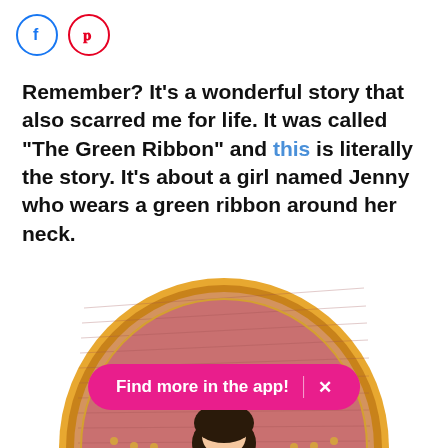[Figure (logo): Facebook icon circle (blue outline with F symbol) and Pinterest icon circle (red outline with P symbol)]
Remember? It's a wonderful story that also scarred me for life. It was called "The Green Ribbon" and this is literally the story. It's about a girl named Jenny who wears a green ribbon around her neck.
[Figure (illustration): Illustrated book cover image showing a girl with dark hair inside a circular orange and gold bordered frame with pink/red textured background. A pink pill-shaped banner reads 'Find more in the app! X']